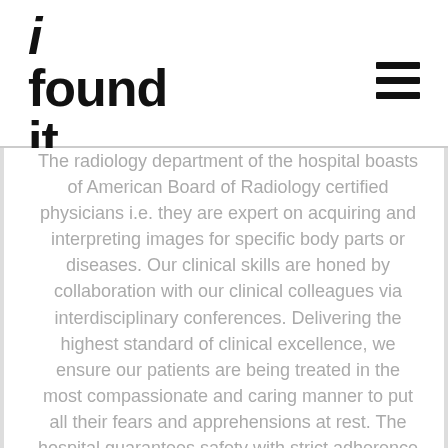i found it...
The radiology department of the hospital boasts of American Board of Radiology certified physicians i.e. they are expert on acquiring and interpreting images for specific body parts or diseases. Our clinical skills are honed by collaboration with our clinical colleagues via interdisciplinary conferences. Delivering the highest standard of clinical excellence, we ensure our patients are being treated in the most compassionate and caring manner to put all their fears and apprehensions at rest. The hospital guarantees safety with strict adherence to all radiation safety guidelines.